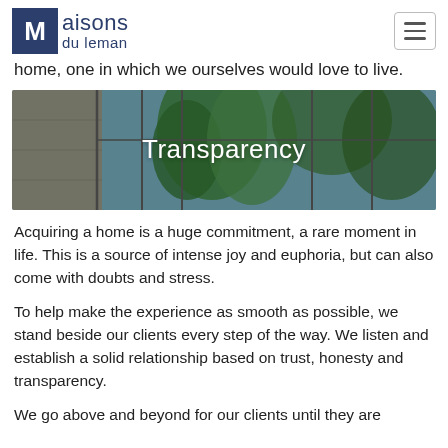Maisons du leman
home, one in which we ourselves would love to live.
[Figure (photo): Interior photo of a modern home with large glass windows, tropical plants, and concrete walls overlaid with the text 'Transparency']
Acquiring a home is a huge commitment, a rare moment in life. This is a source of intense joy and euphoria, but can also come with doubts and stress.
To help make the experience as smooth as possible, we stand beside our clients every step of the way. We listen and establish a solid relationship based on trust, honesty and transparency.
We go above and beyond for our clients until they are